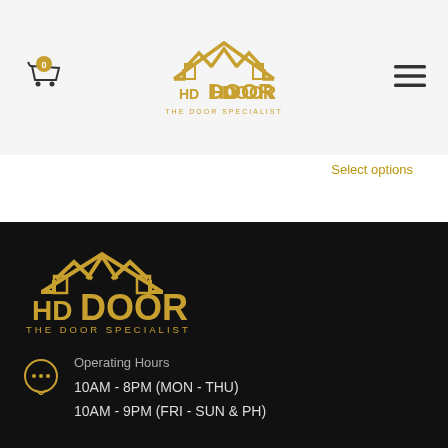[Figure (logo): HD Door - The Door Specialist logo in gold/dark gold color in the header]
Select options
[Figure (logo): HD Door - The Door Specialist large logo in gold color on black footer background]
Operating Hours
10AM - 8PM (MON - THU)
10AM - 9PM (FRI - SUN & PH)